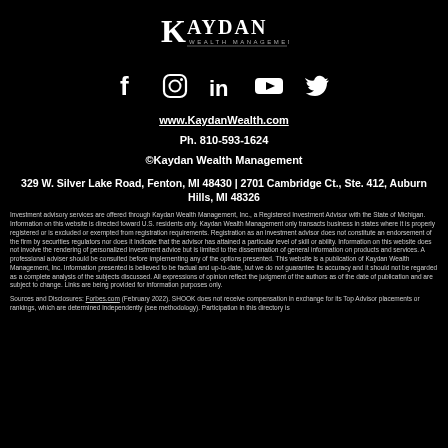[Figure (logo): Kaydan Wealth Management logo in white on black background]
[Figure (illustration): Social media icons: Facebook, Instagram, LinkedIn, YouTube, Twitter in white]
www.KaydanWealth.com
Ph. 810-593-1624
©Kaydan Wealth Management
329 W. Silver Lake Road, Fenton, MI 48430  |  2701 Cambridge Ct., Ste. 412, Auburn Hills, MI 48326
Investment advisory services are offered through Kaydan Wealth Management, Inc., a Registered Investment Advisor with the State of Michigan. Information on this website is directed toward U.S. residents only. Kaydan Wealth Management only transacts business in states where it is properly registered or is excluded or exempted from registration requirements. Registration as an investment advisor does not constitute an endorsement of the firm by securities regulators nor does it indicate that the advisor has attained a particular level of skill or ability. Information on this website does not involve the rendering of personalized investment advice but is limited to the dissemination of general information on products and services. A professional adviser should be consulted before implementing any of the options presented. This website is a publication of Kaydan Wealth Management, Inc. Information presented is believed to be factual and up-to-date, but we do not guarantee its accuracy and it should not be regarded as a complete analysis of the subjects discussed. All expressions of opinion reflect the judgment of the authors as of the date of publication and are subject to change. Links are being provided for information purposes only.
Sources and Disclosures: Forbes.com (February 2022). SHOOK does not receive compensation in exchange for its Top Advisor placements or rankings, which are determined independently (see methodology). Participation in this directory is